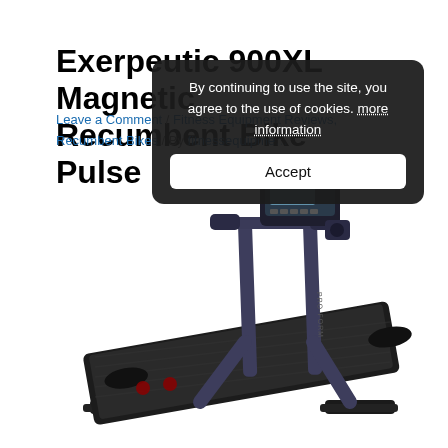Exerpeutic 900XL Magnetic Recumbent Bike Pulse
Leave a Comment / Fitness Equipment Reviews, Recumbent Bikes / By [author]
By continuing to use the site, you agree to the use of cookies. more information
Accept
[Figure (photo): ProForm treadmill shown at an angle on a white background]